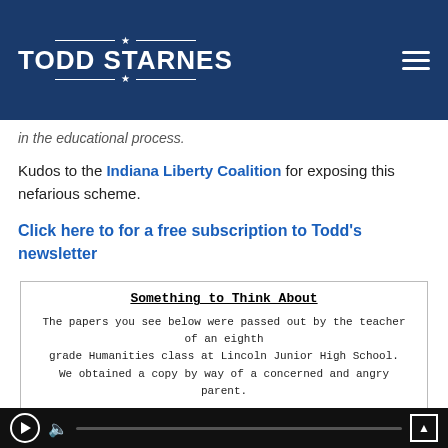TODD STARNES
in the educational process.
Kudos to the Indiana Liberty Coalition for exposing this nefarious scheme.
Click here to for a free subscription to Todd's newsletter
Something to Think About
The papers you see below were passed out by the teacher of an eighth grade Humanities class at Lincoln Junior High School. We obtained a copy by way of a concerned and angry parent.
[Figure (photo): Two document images shown side by side at the bottom of the page]
Video player controls bar